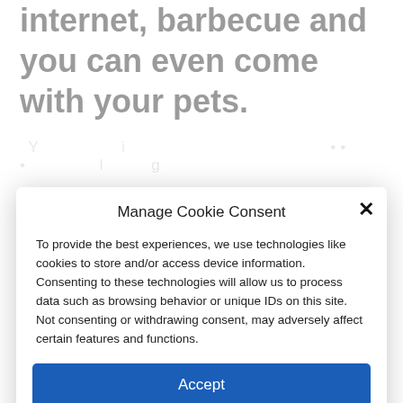internet, barbecue and you can even come with your pets.
Manage Cookie Consent
To provide the best experiences, we use technologies like cookies to store and/or access device information. Consenting to these technologies will allow us to process data such as browsing behavior or unique IDs on this site. Not consenting or withdrawing consent, may adversely affect certain features and functions.
Accept
Deny
View preferences
Cookie Policy    CONDICIONES USO WEB